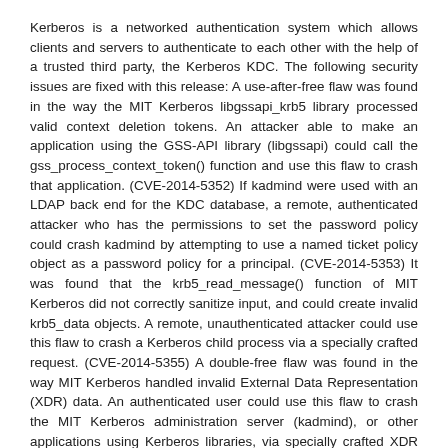Kerberos is a networked authentication system which allows clients and servers to authenticate to each other with the help of a trusted third party, the Kerberos KDC. The following security issues are fixed with this release: A use-after-free flaw was found in the way the MIT Kerberos libgssapi_krb5 library processed valid context deletion tokens. An attacker able to make an application using the GSS-API library (libgssapi) could call the gss_process_context_token() function and use this flaw to crash that application. (CVE-2014-5352) If kadmind were used with an LDAP back end for the KDC database, a remote, authenticated attacker who has the permissions to set the password policy could crash kadmind by attempting to use a named ticket policy object as a password policy for a principal. (CVE-2014-5353) It was found that the krb5_read_message() function of MIT Kerberos did not correctly sanitize input, and could create invalid krb5_data objects. A remote, unauthenticated attacker could use this flaw to crash a Kerberos child process via a specially crafted request. (CVE-2014-5355) A double-free flaw was found in the way MIT Kerberos handled invalid External Data Representation (XDR) data. An authenticated user could use this flaw to crash the MIT Kerberos administration server (kadmind), or other applications using Kerberos libraries, via specially crafted XDR packets. (CVE-2014-